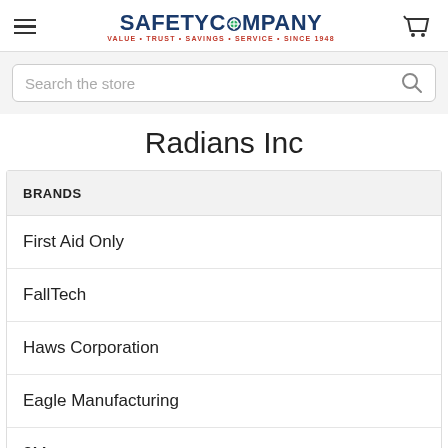SafetyCompany – VALUE • TRUST • SAVINGS • SERVICE • SINCE 1948
Search the store
Radians Inc
BRANDS
First Aid Only
FallTech
Haws Corporation
Eagle Manufacturing
3M
Capital Safety by 3M